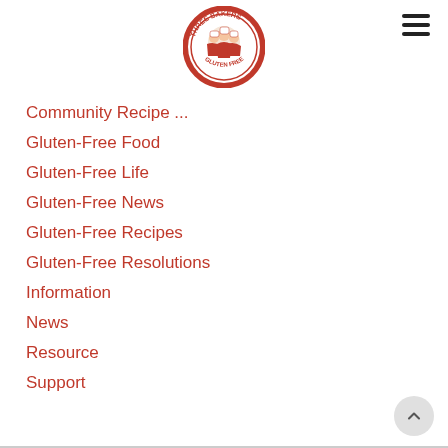Three Bakers logo
Community Recipe ...
Gluten-Free Food
Gluten-Free Life
Gluten-Free News
Gluten-Free Recipes
Gluten-Free Resolutions
Information
News
Resource
Support